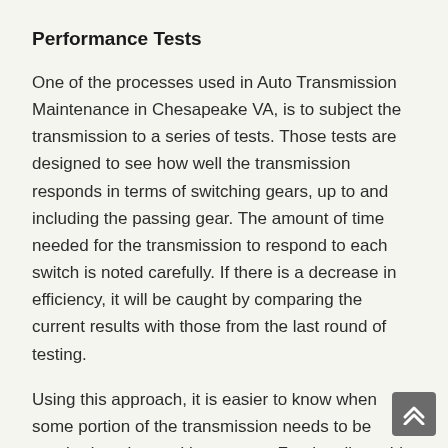Performance Tests
One of the processes used in Auto Transmission Maintenance in Chesapeake VA, is to subject the transmission to a series of tests. Those tests are designed to see how well the transmission responds in terms of switching gears, up to and including the passing gear. The amount of time needed for the transmission to respond to each switch is noted carefully. If there is a decrease in efficiency, it will be caught by comparing the current results with those from the last round of testing.
Using this approach, it is easier to know when some portion of the transmission needs to be repaired or changed in any way. For the client, this attention to detail minimizes the possibility of getting into the car one morning and finding that it will not slip into